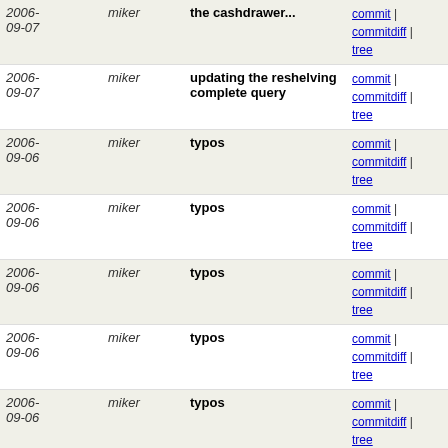| Date | Author | Message | Links |
| --- | --- | --- | --- |
| 2006-09-07 | miker | the cashdrawer... | commit | commitdiff | tree |
| 2006-09-07 | miker | updating the reshelving complete query | commit | commitdiff | tree |
| 2006-09-06 | miker | typos | commit | commitdiff | tree |
| 2006-09-06 | miker | typos | commit | commitdiff | tree |
| 2006-09-06 | miker | typos | commit | commitdiff | tree |
| 2006-09-06 | miker | typos | commit | commitdiff | tree |
| 2006-09-06 | miker | typos | commit | commitdiff | tree |
| 2006-09-06 | miker | typos | commit | commitdiff | tree |
| 2006-09-06 | miker | typos | commit | commitdiff | tree |
| 2006-09-06 | miker | typos | commit | commitdiff | tree |
| 2006-09-06 | miker | more billing | commit | commitdiff | tree |
| 2006-09-06 | miker | convert opac fleshing method | commit | commitdiff | tree |
| 2006-09-06 | miker | typo | commit | commitdiff | tree |
| 2006-09-06 | miker | typo | commit | commitdiff | tree |